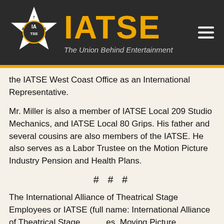IATSE – The Union Behind Entertainment
the IATSE West Coast Office as an International Representative.
Mr. Miller is also a member of IATSE Local 209 Studio Mechanics, and IATSE Local 80 Grips. His father and several cousins are also members of the IATSE. He also serves as a Labor Trustee on the Motion Picture Industry Pension and Health Plans.
# # #
The International Alliance of Theatrical Stage Employees or IATSE (full name: International Alliance of Theatrical Stage Employees, Moving Picture Technicians, Artists and Allied Crafts of the United States, Its Territories and